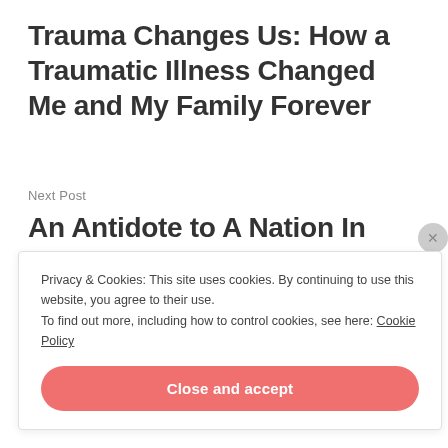Trauma Changes Us: How a Traumatic Illness Changed Me and My Family Forever
Next Post
An Antidote to A Nation In Trouble; God Has The Answer
Privacy & Cookies: This site uses cookies. By continuing to use this website, you agree to their use.
To find out more, including how to control cookies, see here: Cookie Policy
Close and accept